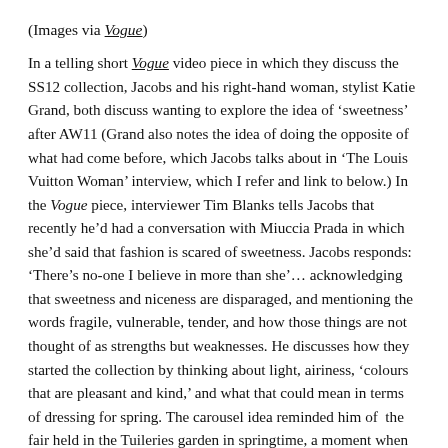(Images via Vogue)
In a telling short Vogue video piece in which they discuss the SS12 collection, Jacobs and his right-hand woman, stylist Katie Grand, both discuss wanting to explore the idea of ‘sweetness’ after AW11 (Grand also notes the idea of doing the opposite of what had come before, which Jacobs talks about in ‘The Louis Vuitton Woman’ interview, which I refer and link to below.) In the Vogue piece, interviewer Tim Blanks tells Jacobs that recently he’d had a conversation with Miuccia Prada in which she’d said that fashion is scared of sweetness. Jacobs responds: ‘There’s no-one I believe in more than she’… acknowledging that sweetness and niceness are disparaged, and mentioning the words fragile, vulnerable, tender, and how those things are not thought of as strengths but weaknesses. He discusses how they started the collection by thinking about light, airiness, ‘colours that are pleasant and kind,’ and what that could mean in terms of dressing for spring. The carousel idea reminded him of  the fair held in the Tuileries garden in springtime, a moment when things seem possible. (So why not, in terms of sweetness in fashion?)
An astonishing show, theatrical and magical, as Tyrone Lebon’s short film, ‘Louis Vuitton SS12, Backstage for Love Magazine’ captures: with